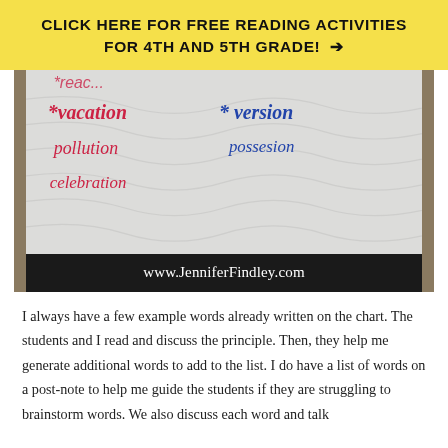CLICK HERE FOR FREE READING ACTIVITIES FOR 4TH AND 5TH GRADE! →
[Figure (photo): Photograph of a classroom anchor chart on white paper showing vocabulary words: *vacation, pollution, celebration (in pink/red marker) and *version, possesion (in blue marker) at the top partially cut off. Bottom of photo has a black bar with www.JenniferFindley.com in white text.]
I always have a few example words already written on the chart. The students and I read and discuss the principle. Then, they help me generate additional words to add to the list. I do have a list of words on a post-note to help me guide the students if they are struggling to brainstorm words. We also discuss each word and talk